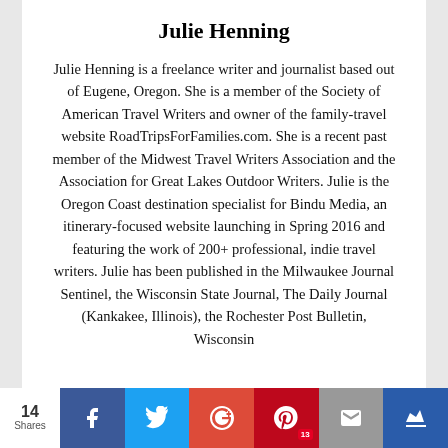Julie Henning
Julie Henning is a freelance writer and journalist based out of Eugene, Oregon. She is a member of the Society of American Travel Writers and owner of the family-travel website RoadTripsForFamilies.com. She is a recent past member of the Midwest Travel Writers Association and the Association for Great Lakes Outdoor Writers. Julie is the Oregon Coast destination specialist for Bindu Media, an itinerary-focused website launching in Spring 2016 and featuring the work of 200+ professional, indie travel writers. Julie has been published in the Milwaukee Journal Sentinel, the Wisconsin State Journal, The Daily Journal (Kankakee, Illinois), the Rochester Post Bulletin, Wisconsin
14 Shares | Facebook | Twitter | G+ | Pinterest 13 | Email | Crown